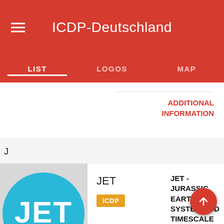ICDP-Deutschland
LIST | LOGOS | MAP
ADDITIONAL INFORMATION
J
[Figure (logo): JET circular logo with blue background, white JET text and ammonite fossil image]
JET
ICDP
JET - JURASSIC EARTH SYSTEM AND TIMESCALE
Dr. Thomas Wonik